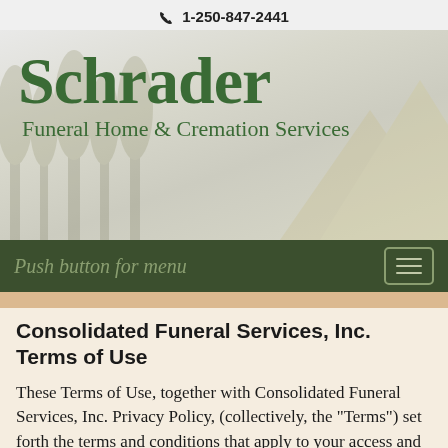📞 1-250-847-2441
[Figure (logo): Schrader Funeral Home & Cremation Services logo with decorative tree/mountain background imagery]
Push button for menu
Consolidated Funeral Services, Inc. Terms of Use
These Terms of Use, together with Consolidated Funeral Services, Inc. Privacy Policy, (collectively, the "Terms") set forth the terms and conditions that apply to your access and use of the website of Consolidated Funeral Services,